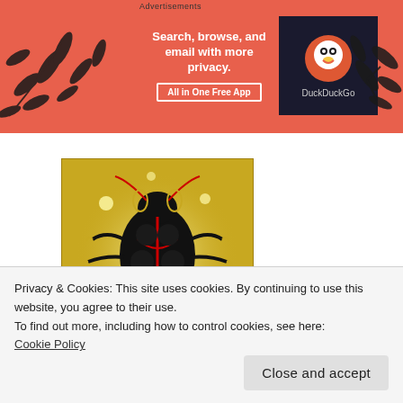Advertisements
[Figure (screenshot): DuckDuckGo advertisement banner: 'Search, browse, and email with more privacy. All in One Free App' with DuckDuckGo duck logo on dark background, with plant/leaf decorations on the sides on a coral/salmon colored background.]
[Figure (illustration): Black beetle illustration on a golden/yellow glowing background, square image]
American Institute of Culinary Politics-Elemental News of
Privacy & Cookies: This site uses cookies. By continuing to use this website, you agree to their use.
To find out more, including how to control cookies, see here:
Cookie Policy
Close and accept